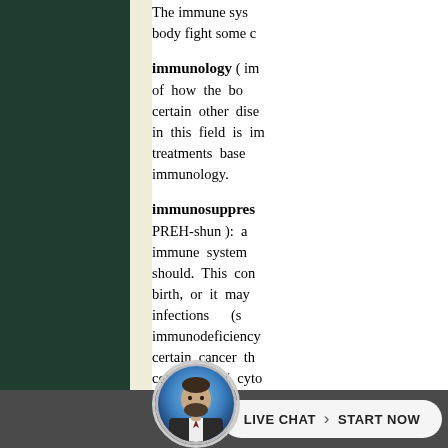The immune system... body fight some c...
immunology ( im... of how the bod... certain other dise... in this field is im... treatments base... immunology.
immunosuppres... PREH-shun ): a ... immune system ... should. This con... birth, or it may ... infections (s... immunodeficiency... certain cancer th... cell killing ( cyto... and bone marrow...
immunotherapy ... nee ): treatments...
[Figure (photo): Circular avatar photo of a bearded man in a suit, against a blue gradient background, positioned in the bottom toolbar area.]
LIVE CHAT  >  START NOW